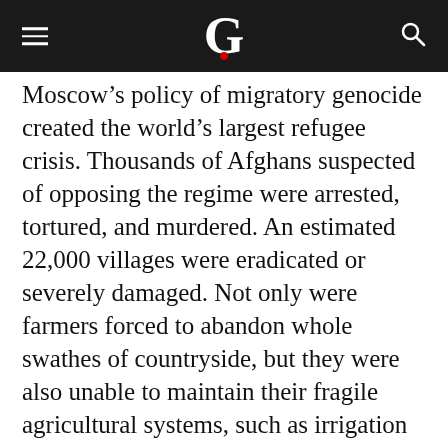G (The Guardian logo)
Moscow’s policy of migratory genocide created the world’s largest refugee crisis. Thousands of Afghans suspected of opposing the regime were arrested, tortured, and murdered. An estimated 22,000 villages were eradicated or severely damaged. Not only were farmers forced to abandon whole swathes of countryside, but they were also unable to maintain their fragile agricultural systems, such as irrigation canals. If ordinary Afghans had wished to remain, they would have had to accept Kabul’s rule.
There are no reliable figures for casualties among today’s armed opposition despite the